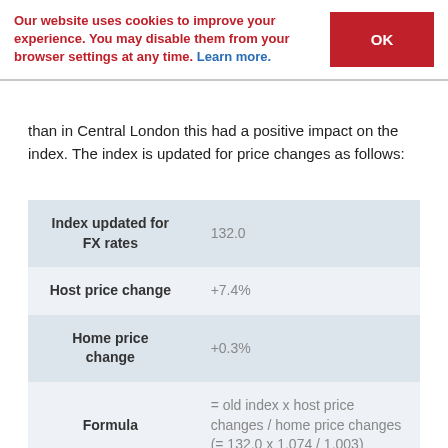Our website uses cookies to improve your experience. You may disable them from your browser settings at any time. Learn more.
than in Central London this had a positive impact on the index. The index is updated for price changes as follows:
|  |  |
| --- | --- |
| Index updated for FX rates | 132.0 |
| Host price change | +7.4% |
| Home price change | +0.3% |
| Formula | = old index x host price changes / home price changes (= 132.0 x 1.074 / 1.003) |
| September 2019 index | = 141.3 |